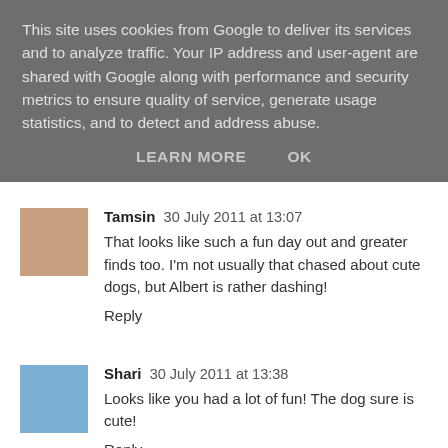This site uses cookies from Google to deliver its services and to analyze traffic. Your IP address and user-agent are shared with Google along with performance and security metrics to ensure quality of service, generate usage statistics, and to detect and address abuse.
LEARN MORE    OK
Tamsin 30 July 2011 at 13:07
That looks like such a fun day out and greater finds too. I'm not usually that chased about cute dogs, but Albert is rather dashing!
Reply
Shari 30 July 2011 at 13:38
Looks like you had a lot of fun! The dog sure is cute!
Reply
Marie 30 July 2011 at 13:45